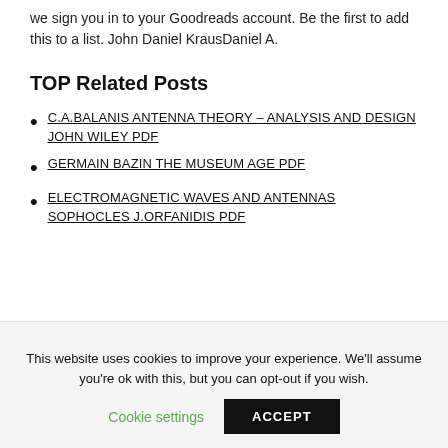we sign you in to your Goodreads account. Be the first to add this to a list. John Daniel KrausDaniel A.
TOP Related Posts
C.A.BALANIS ANTENNA THEORY – ANALYSIS AND DESIGN JOHN WILEY PDF
GERMAIN BAZIN THE MUSEUM AGE PDF
ELECTROMAGNETIC WAVES AND ANTENNAS SOPHOCLES J.ORFANIDIS PDF
This website uses cookies to improve your experience. We'll assume you're ok with this, but you can opt-out if you wish.
Cookie settings   ACCEPT